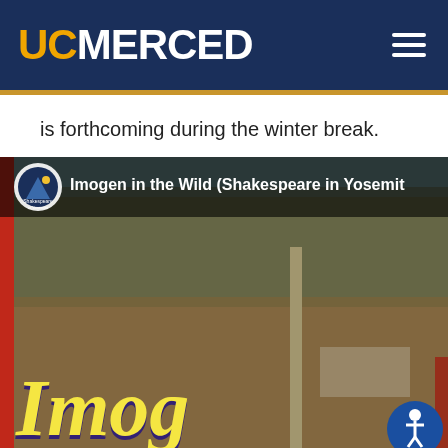UC MERCED
is forthcoming during the winter break.
[Figure (screenshot): Promotional image for 'Imogen in the Wild (Shakespeare in Yosemite)' showing a scenic landscape with trees and rocky terrain, with the word 'Imogen' displayed in large yellow italic text at the bottom. A Shakespeare in Yosemite shield logo and title appear in an overlay bar at the top.]